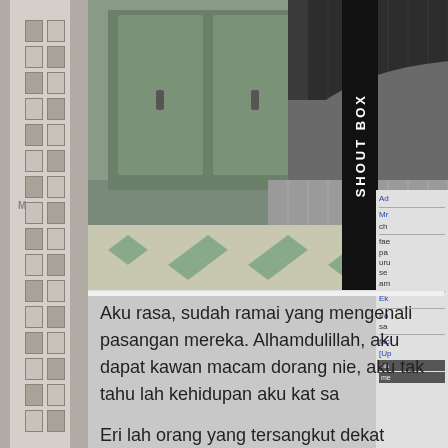[Figure (photo): Person wearing layered grey and dark grey knit sweaters, photographed from below/mid torso, tiled floor visible in background with green and white diamond pattern, indoor setting]
Aku rasa, sudah ramai yang mengenali pasangan mereka. Alhamdulillah, aku dapat kawan macam dorang nie, aku tak tahu lah kehidupan aku kat sa
Eri lah orang yang tersangkut dekat imegresen tu yang ambik kitorang a.k.a Jason, decide untuk tin Takafumi. Dorang start bercinta masa kat sana. D